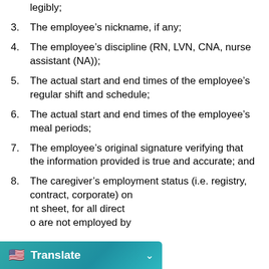legibly;
3. The employee’s nickname, if any;
4. The employee’s discipline (RN, LVN, CNA, nurse assistant (NA));
5. The actual start and end times of the employee’s regular shift and schedule;
6. The actual start and end times of the employee’s meal periods;
7. The employee’s original signature verifying that the information provided is true and accurate; and
8. The caregiver’s employment status (i.e. registry, contract, corporate) on nt sheet, for all direct o are not employed by